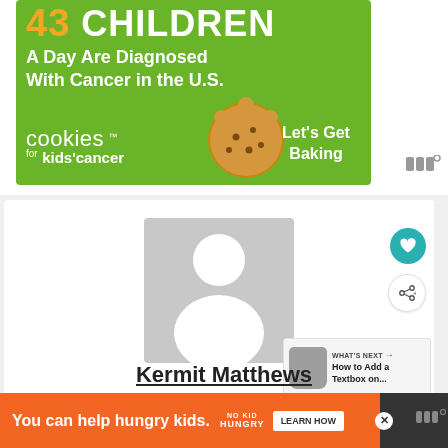[Figure (infographic): Cookies for Kids' Cancer advertisement banner with green background. Large white bold text reads 'CHILDREN A Day Are Diagnosed With Cancer in the U.S.' with cookies brand logo and 'Let's Get Baking' text alongside a cookie illustration.]
[Figure (photo): Default user avatar placeholder image — grey rectangle with white silhouette of a person (head circle and shoulders).]
Kermit Matthews
[Figure (infographic): 'WHAT'S NEXT' panel showing a thumbnail and text 'How to Add a Textbox on...']
[Figure (infographic): Bottom advertisement bar: orange background with text 'You can help hungry kids.' and No Kid Hungry logo and 'LEARN HOW' button.]